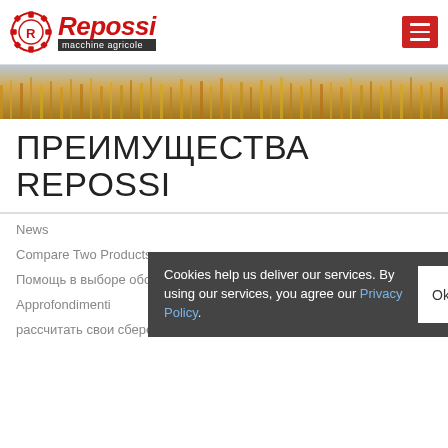[Figure (logo): Repossi macchine agricole logo with gear icon on left and red italic text]
[Figure (photo): Hero banner image showing golden wheat/grain field from above]
ПРЕИМУЩЕСТВА REPOSSI
News
Compare Two Products
Помощь в выборе оборудования
Approfondimenti
рассчитать свои сбережения сейчас
Cookies help us deliver our services. By using our services, you agree our Privacy Policy.